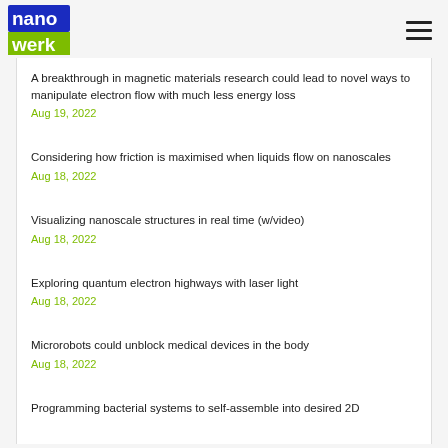nanowerk
A breakthrough in magnetic materials research could lead to novel ways to manipulate electron flow with much less energy loss
Aug 19, 2022
Considering how friction is maximised when liquids flow on nanoscales
Aug 18, 2022
Visualizing nanoscale structures in real time (w/video)
Aug 18, 2022
Exploring quantum electron highways with laser light
Aug 18, 2022
Microrobots could unblock medical devices in the body
Aug 18, 2022
Programming bacterial systems to self-assemble into desired 2D